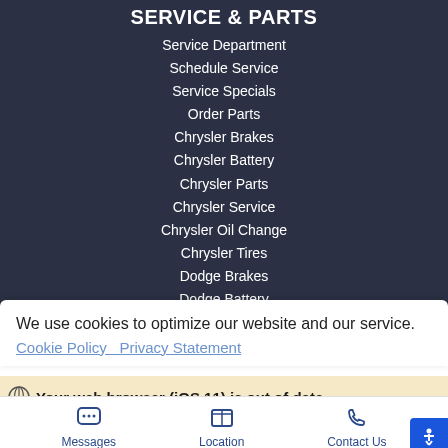SERVICE & PARTS
Service Department
Schedule Service
Service Specials
Order Parts
Chrysler Brakes
Chrysler Battery
Chrysler Parts
Chrysler Service
Chrysler Oil Change
Chrysler Tires
Dodge Brakes
Dodge Battery
Dodge Parts
We use cookies to optimize our website and our service.
Cookie Policy   Privacy Statement
Your web browser (iOS 11) is out of date.
Messages   Location   Contact Us